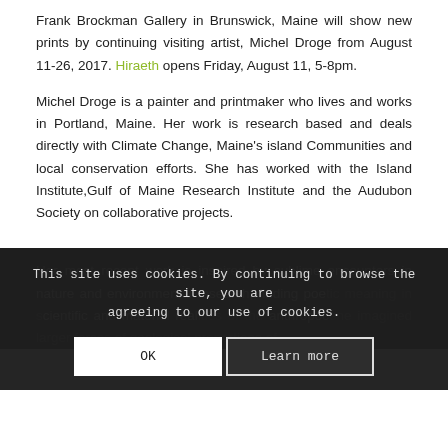Frank Brockman Gallery in Brunswick, Maine will show new prints by continuing visiting artist, Michel Droge from August 11-26, 2017. Hiraeth opens Friday, August 11, 5-8pm.
Michel Droge is a painter and printmaker who lives and works in Portland, Maine. Her work is research based and deals directly with Climate Change, Maine's island Communities and local conservation efforts. She has worked with the Island Institute,Gulf of Maine Research Institute and the Audubon Society on collaborative projects.
Her most recent work is inspired by sublime encounters in nature and environmental research, finding poetic meaning in scientific and material realities of the anthropocene imagined larger forces of geological proportions of...
This site uses cookies. By continuing to browse the site, you are agreeing to our use of cookies.